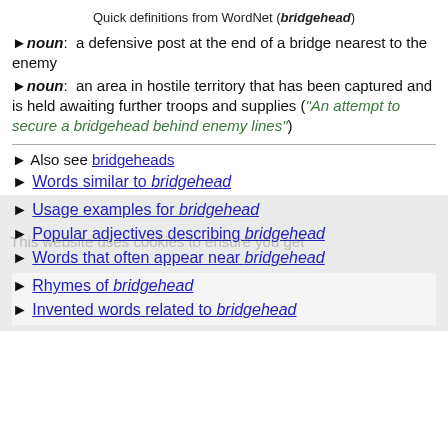Quick definitions from WordNet (bridgehead)
▶ noun:  a defensive post at the end of a bridge nearest to the enemy
▶ noun:  an area in hostile territory that has been captured and is held awaiting further troops and supplies ("An attempt to secure a bridgehead behind enemy lines")
▶ Also see bridgeheads
▶ Words similar to bridgehead
▶ Usage examples for bridgehead
▶ Popular adjectives describing bridgehead
▶ Words that often appear near bridgehead
▶ Rhymes of bridgehead
▶ Invented words related to bridgehead